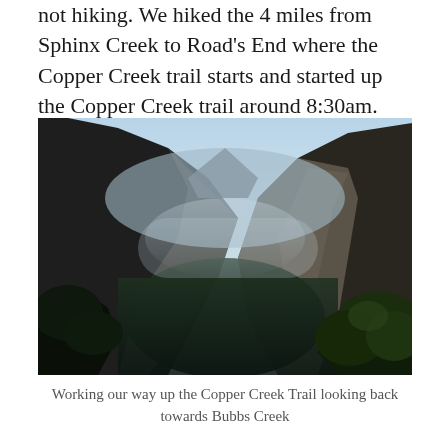not hiking. We hiked the 4 miles from Sphinx Creek to Road's End where the Copper Creek trail starts and started up the Copper Creek trail around 8:30am.
[Figure (photo): A mountain valley landscape photograph showing steep rocky canyon walls on both sides receding into the distance, with hazy sky above, dense forest of conifers in the valley bottom, and green trees in the foreground. This is the view looking back towards Bubbs Creek from the Copper Creek Trail.]
Working our way up the Copper Creek Trail looking back towards Bubbs Creek